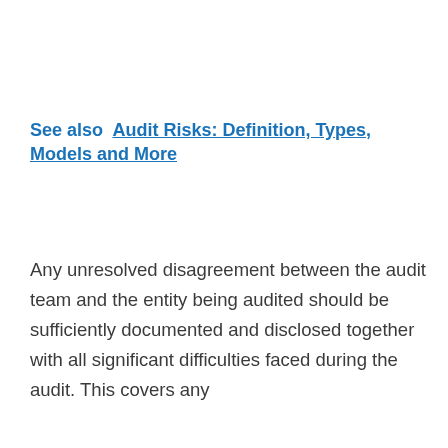See also  Audit Risks: Definition, Types, Models and More
Any unresolved disagreement between the audit team and the entity being audited should be sufficiently documented and disclosed together with all significant difficulties faced during the audit. This covers any